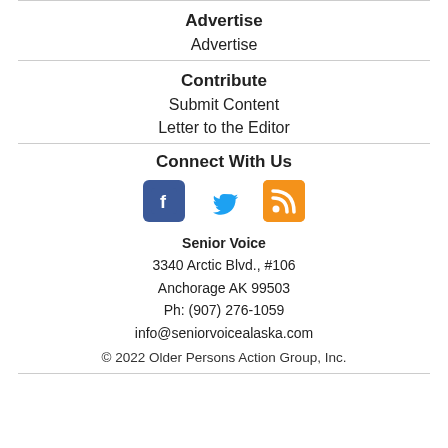Advertise
Advertise
Contribute
Submit Content
Letter to the Editor
Connect With Us
[Figure (illustration): Social media icons: Facebook (blue square with 'f'), Twitter (blue bird), RSS (orange square with RSS symbol)]
Senior Voice
3340 Arctic Blvd., #106
Anchorage AK 99503
Ph: (907) 276-1059
info@seniorvoicealaska.com
© 2022 Older Persons Action Group, Inc.